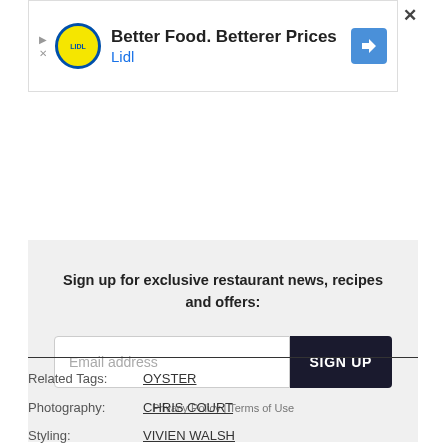[Figure (screenshot): Lidl advertisement banner: 'Better Food. Betterer Prices - Lidl' with Lidl logo and direction arrow icon]
Sign up for exclusive restaurant news, recipes and offers:
Email address
SIGN UP
Privacy Policy | Terms of Use
Related Tags: OYSTER
Photography: CHRIS COURT
Styling: VIVIEN WALSH